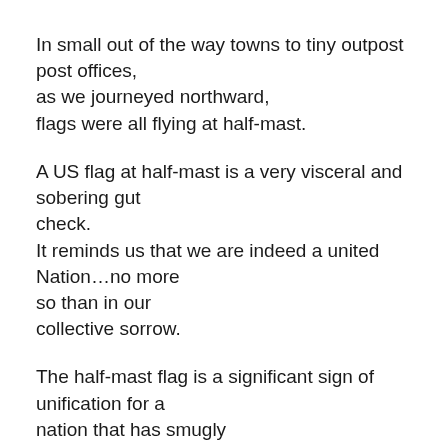In small out of the way towns to tiny outpost post offices, as we journeyed northward, flags were all flying at half-mast.
A US flag at half-mast is a very visceral and sobering gut check. It reminds us that we are indeed a united Nation…no more so than in our collective sorrow.
The half-mast flag is a significant sign of unification for a nation that has smugly forgotten the very fact that it is united rather than divided.
It seems that there were more mass shootings taking place almost simultaneously around the country